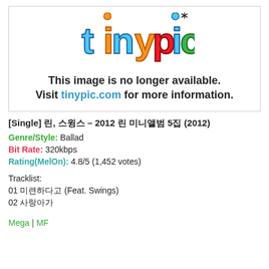[Figure (screenshot): Tinypic placeholder image showing 'This image is no longer available. Visit tinypic.com for more information.']
[Single] 린, 스윙스 – 2012 린 미니앨범 5집 (2012)
Genre/Style: Ballad
Bit Rate: 320kbps
Rating(MelOn): 4.8/5 (1,452 votes)
Tracklist:
01 미련하다고 (Feat. Swings)
02 사랑아가
Mega | MF